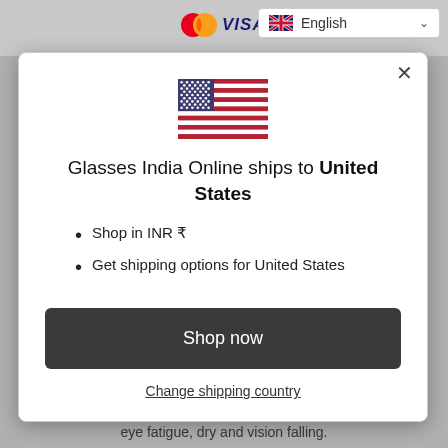[Figure (screenshot): Mastercard and VISA payment icons in the top navigation bar]
[Figure (screenshot): English language selector dropdown in the top right corner]
[Figure (illustration): USA flag icon displayed inside the modal popup]
Glasses India Online ships to United States
Shop in INR ₹
Get shipping options for United States
Shop now
Change shipping country
eye fatigue, dry and vision falling.